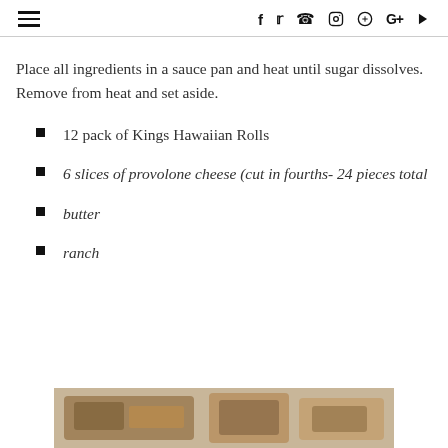≡  f  twitter  instagram  pinterest  G+  play
Place all ingredients in a sauce pan and heat until sugar dissolves. Remove from heat and set aside.
12 pack of Kings Hawaiian Rolls
6 slices of provolone cheese (cut in fourths- 24 pieces total
butter
ranch
[Figure (photo): Photo of food items at bottom of page, partially visible]